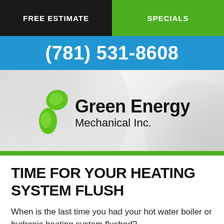FREE ESTIMATE
SPECIALS
(781) 531-8608
[Figure (logo): Green Energy Mechanical Inc. logo with green leaf/drop icon on grey swirl background]
TIME FOR YOUR HEATING SYSTEM FLUSH
When is the last time you had your hot water boiler or hydronic heating system flushed?